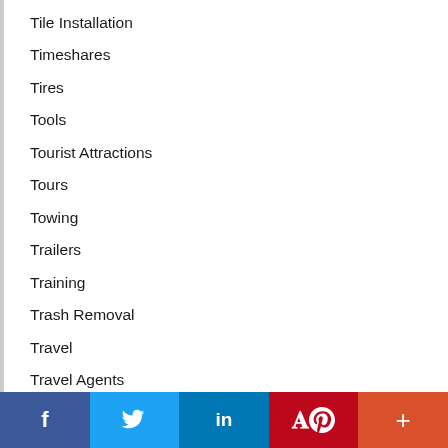Tile Installation
Timeshares
Tires
Tools
Tourist Attractions
Tours
Towing
Trailers
Training
Trash Removal
Travel
Travel Agents
Travel and Tours
Travel Services
f  Twitter  in  Pinterest  +